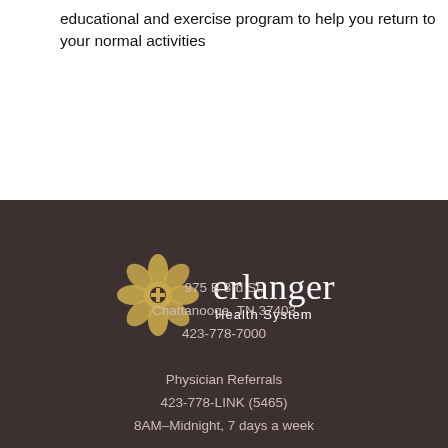educational and exercise program to help you return to your normal activities
[Figure (logo): Erlanger Health System logo with golden floral emblem and white wordmark]
975 E 3rd St.
Chattanooga, TN 37403
423-778-7000
Physician Referrals
423-778-LINK (5465)
8AM–Midnight, 7 days a week